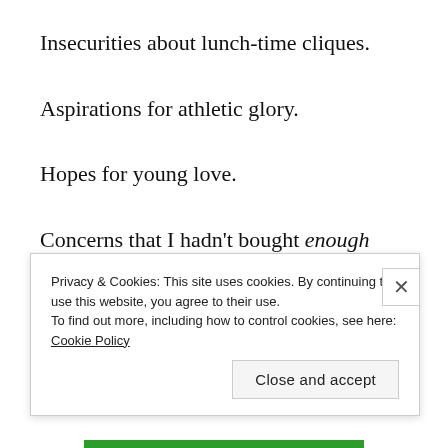Insecurities about lunch-time cliques.
Aspirations for athletic glory.
Hopes for young love.
Concerns that I hadn't bought enough loose-leaf.
All of it kept me awake at night.  The funny thing is that it's been nearly 4 years since I've had to do back-to-school shopping, and yet I still find myself suffering
Privacy & Cookies: This site uses cookies. By continuing to use this website, you agree to their use.
To find out more, including how to control cookies, see here: Cookie Policy
Close and accept